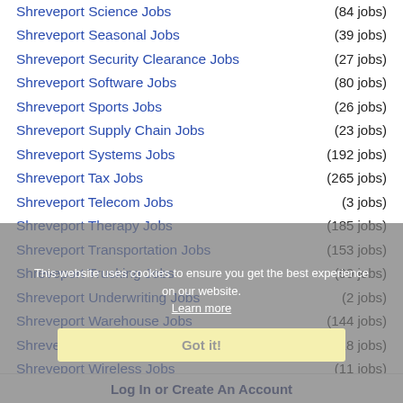Shreveport Science Jobs (84 jobs)
Shreveport Seasonal Jobs (39 jobs)
Shreveport Security Clearance Jobs (27 jobs)
Shreveport Software Jobs (80 jobs)
Shreveport Sports Jobs (26 jobs)
Shreveport Supply Chain Jobs (23 jobs)
Shreveport Systems Jobs (192 jobs)
Shreveport Tax Jobs (265 jobs)
Shreveport Telecom Jobs (3 jobs)
Shreveport Therapy Jobs (185 jobs)
Shreveport Transportation Jobs (153 jobs)
Shreveport Trucking Jobs (99 jobs)
Shreveport Underwriting Jobs (2 jobs)
Shreveport Warehouse Jobs (144 jobs)
Shreveport Wellness Jobs (118 jobs)
Shreveport Wireless Jobs (11 jobs)
Shreveport Work At Home Jobs (141 jobs)
This website uses cookies to ensure you get the best experience on our website. Learn more
Got it!
Log In or Create An Account